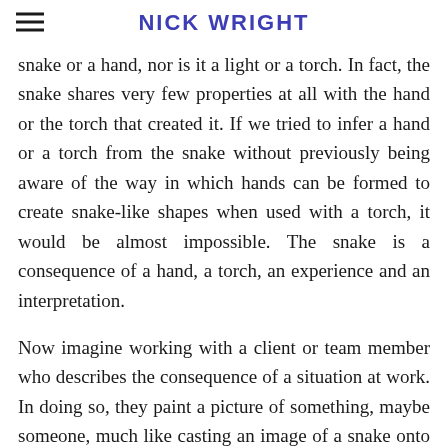NICK WRIGHT
snake or a hand, nor is it a light or a torch. In fact, the snake shares very few properties at all with the hand or the torch that created it. If we tried to infer a hand or a torch from the snake without previously being aware of the way in which hands can be formed to create snake-like shapes when used with a torch, it would be almost impossible. The snake is a consequence of a hand, a torch, an experience and an interpretation.
Now imagine working with a client or team member who describes the consequence of a situation at work. In doing so, they paint a picture of something, maybe someone, much like casting an image of a snake onto a wall. If we focus our attention on the image as if it holds its own intrinsic meaning, or if we assume its